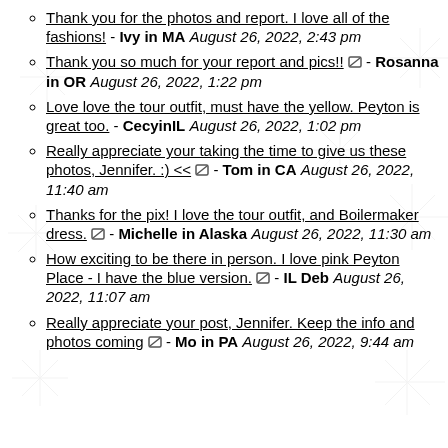Thank you for the photos and report. I love all of the fashions! - Ivy in MA August 26, 2022, 2:43 pm
Thank you so much for your report and pics!! [icon] - Rosanna in OR August 26, 2022, 1:22 pm
Love love the tour outfit, must have the yellow. Peyton is great too. - CecyinIL August 26, 2022, 1:02 pm
Really appreciate your taking the time to give us these photos, Jennifer. :) << [icon] - Tom in CA August 26, 2022, 11:40 am
Thanks for the pix! I love the tour outfit, and Boilermaker dress. [icon] - Michelle in Alaska August 26, 2022, 11:30 am
How exciting to be there in person. I love pink Peyton Place - I have the blue version. [icon] - IL Deb August 26, 2022, 11:07 am
Really appreciate your post, Jennifer. Keep the info and photos coming [icon] - Mo in PA August 26, 2022, 9:44 am